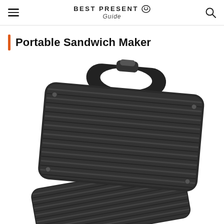BEST PRESENT Guide
Portable Sandwich Maker
[Figure (photo): A black portable sandwich maker / panini press shown open at an angle, revealing the ridged non-stick grill plates on both the top and bottom. The appliance has a rounded handle at the top with a locking mechanism.]